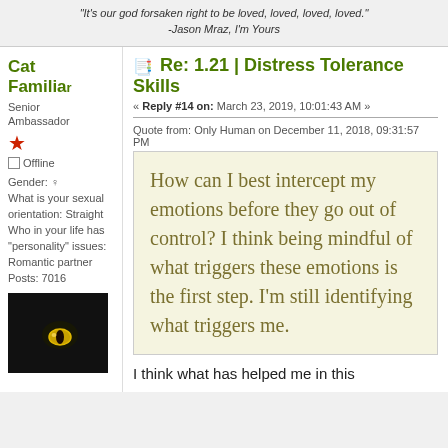"It's our god forsaken right to be loved, loved, loved, loved."
-Jason Mraz, I'm Yours
Re: 1.21 | Distress Tolerance Skills
« Reply #14 on: March 23, 2019, 10:01:43 AM »
Quote from: Only Human on December 11, 2018, 09:31:57 PM
How can I best intercept my emotions before they go out of control? I think being mindful of what triggers these emotions is the first step. I'm still identifying what triggers me.
I think what has helped me in this